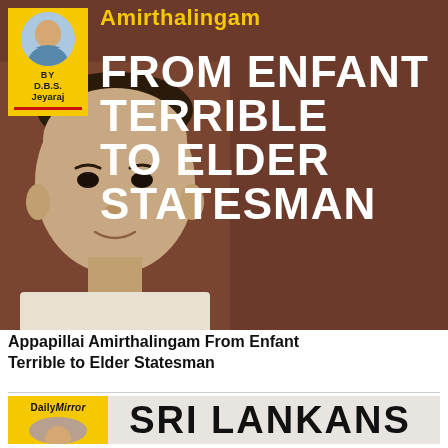[Figure (illustration): Book or article cover with brown background showing a man's photo on the left and large white text on the right. Yellow author box top-left with author photo and name D.B.S. Jeyaraj. Yellow text at top reads Amirthalingam. Large white bold text reads FROM ENFANT TERRIBLE TO ELDER STATESMAN.]
Appapillai Amirthalingam From Enfant Terrible to Elder Statesman
[Figure (illustration): Bottom article preview card with yellow Daily Mirror logo box on left with an author circle photo, and large bold black text SRI LANKANS on right on a beige background.]